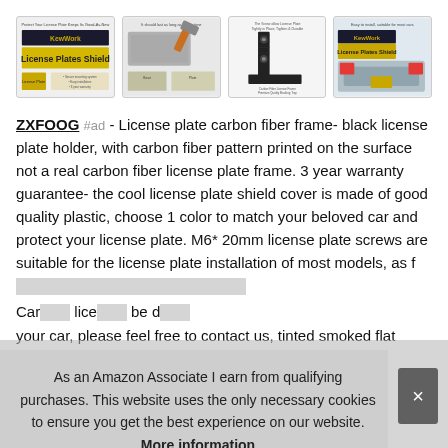[Figure (photo): Four product images of license plate carbon fiber frame products: image 1 shows a yellow license plate with text 'License Plates Shield', image 2 shows a hammer hitting a license plate frame durability test, image 3 shows a carbon fiber frame bracket, image 4 shows a Mustang car with license plate shield installed.]
ZXFOOG #ad - License plate carbon fiber frame- black license plate holder, with carbon fiber pattern printed on the surface not a real carbon fiber license plate frame. 3 year warranty guarantee- the cool license plate shield cover is made of good quality plastic, choose 1 color to match your beloved car and protect your license plate. M6* 20mm license plate screws are suitable for the license plate installation of most models, as f[obscured] Car[obscured] lice[obscured] be d[obscured] your car, please feel free to contact us, tinted smoked flat
As an Amazon Associate I earn from qualifying purchases. This website uses the only necessary cookies to ensure you get the best experience on our website. More information